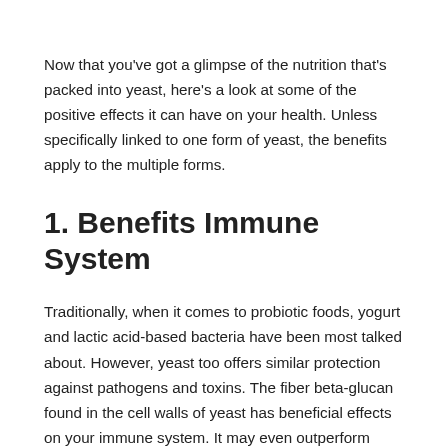Now that you've got a glimpse of the nutrition that's packed into yeast, here's a look at some of the positive effects it can have on your health. Unless specifically linked to one form of yeast, the benefits apply to the multiple forms.
1. Benefits Immune System
Traditionally, when it comes to probiotic foods, yogurt and lactic acid-based bacteria have been most talked about. However, yeast too offers similar protection against pathogens and toxins. The fiber beta-glucan found in the cell walls of yeast has beneficial effects on your immune system. It may even outperform lactic acid bacteria like that in yogurt